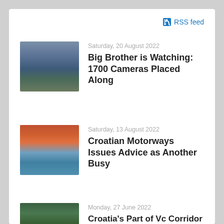RSS feed
[Figure (photo): Aerial/landscape photo of rocky cliffs and water under cloudy sky]
Saturday, 20 August 2022
Big Brother is Watching: 1700 Cameras Placed Along
[Figure (photo): Bridge over water with dramatic vivid orange-red sunset sky]
Saturday, 13 August 2022
Croatian Motorways Issues Advice as Another Busy
[Figure (photo): Aerial view of Croatian landscape with winding roads and green terrain]
Monday, 27 June 2022
Croatia's Part of Vc Corridor to be Completed in 2024. Minister